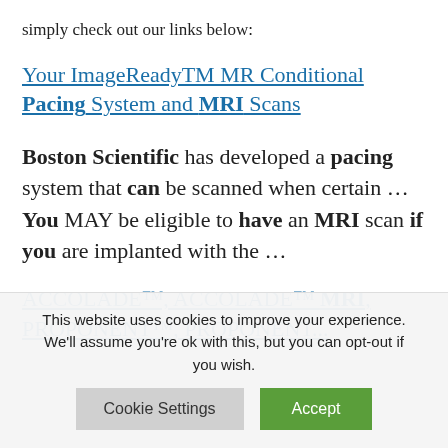simply check out our links below:
Your ImageReadyTM MR Conditional Pacing System and MRI Scans
Boston Scientific has developed a pacing system that can be scanned when certain … You MAY be eligible to have an MRI scan if you are implanted with the …
ACCOLADE™, ACCOLADE™ MRI, PROPONENT™, PROPONENT...
This website uses cookies to improve your experience. We'll assume you're ok with this, but you can opt-out if you wish.